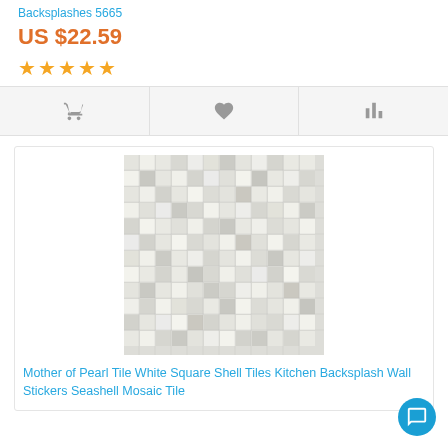Backsplashes 5665
US $22.59
[Figure (other): Five gold star rating icons]
[Figure (other): Action bar with cart, heart/wishlist, and compare icons]
[Figure (photo): Mother of Pearl white square shell mosaic tile close-up photo showing pearlescent white and cream small square tiles in a grid pattern]
Mother of Pearl Tile White Square Shell Tiles Kitchen Backsplash Wall Stickers Seashell Mosaic Tile